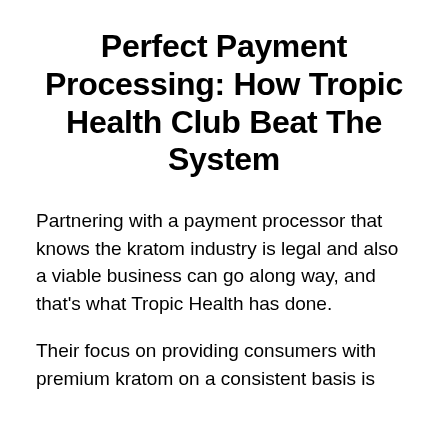Perfect Payment Processing: How Tropic Health Club Beat The System
Partnering with a payment processor that knows the kratom industry is legal and also a viable business can go along way, and that’s what Tropic Health has done.
Their focus on providing consumers with premium kratom on a consistent basis is